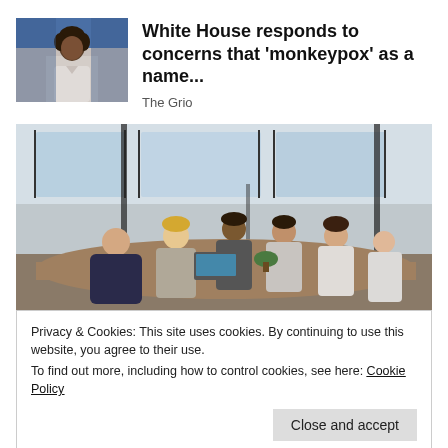[Figure (photo): Thumbnail photo of a Black woman at a podium, speaking, White House press briefing setting with blue background]
White House responds to concerns that 'monkeypox' as a name...
The Grio
[Figure (photo): Business meeting photo showing group of people sitting around a conference table in a glass-walled office room]
Privacy & Cookies: This site uses cookies. By continuing to use this website, you agree to their use.
To find out more, including how to control cookies, see here: Cookie Policy
Close and accept
Sponsored by Jobbie.com